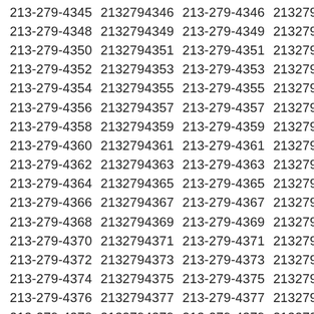| 213-279-4345 | 2132794346 | 213-279-4346 | 2132794348 |
| 213-279-4348 | 2132794349 | 213-279-4349 | 2132794350 |
| 213-279-4350 | 2132794351 | 213-279-4351 | 2132794352 |
| 213-279-4352 | 2132794353 | 213-279-4353 | 2132794354 |
| 213-279-4354 | 2132794355 | 213-279-4355 | 2132794356 |
| 213-279-4356 | 2132794357 | 213-279-4357 | 2132794358 |
| 213-279-4358 | 2132794359 | 213-279-4359 | 2132794360 |
| 213-279-4360 | 2132794361 | 213-279-4361 | 2132794362 |
| 213-279-4362 | 2132794363 | 213-279-4363 | 2132794364 |
| 213-279-4364 | 2132794365 | 213-279-4365 | 2132794366 |
| 213-279-4366 | 2132794367 | 213-279-4367 | 2132794368 |
| 213-279-4368 | 2132794369 | 213-279-4369 | 2132794370 |
| 213-279-4370 | 2132794371 | 213-279-4371 | 2132794372 |
| 213-279-4372 | 2132794373 | 213-279-4373 | 2132794374 |
| 213-279-4374 | 2132794375 | 213-279-4375 | 2132794376 |
| 213-279-4376 | 2132794377 | 213-279-4377 | 2132794378 |
| 213-279-4378 | 2132794379 | 213-279-4379 | 2132794380 |
| 213-279-4380 | 2132794381 | 213-279-4381 | 2132794382 |
| 213-279-4382 | 2132794383 | 213-279-4383 | 2132794384 |